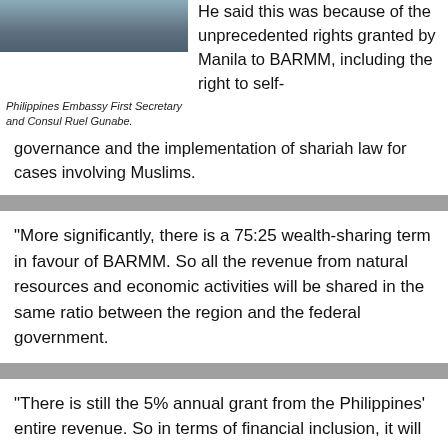[Figure (photo): Partial photo of Philippines Embassy First Secretary and Consul Ruel Gunabe]
Philippines Embassy First Secretary and Consul Ruel Gunabe.
He said this was because of the unprecedented rights granted by Manila to BARMM, including the right to self-governance and the implementation of shariah law for cases involving Muslims.
“More significantly, there is a 75:25 wealth-sharing term in favour of BARMM. So all the revenue from natural resources and economic activities will be shared in the same ratio between the region and the federal government.
“There is still the 5% annual grant from the Philippines’ entire revenue. So in terms of financial inclusion, it will really benefit them,” he said, adding that this was, to date, the most extensive autonomous arrangement for the region.
Gunabe said Mindanao, the second largest region in the